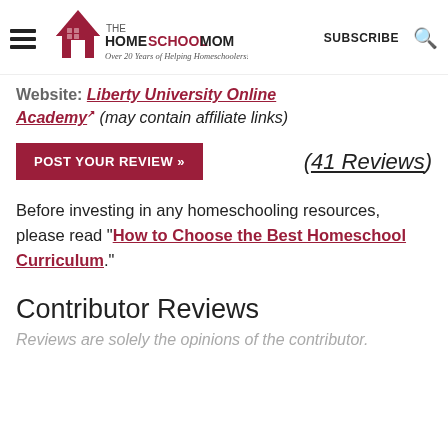THE HOMESCHOOL MOM — Over 20 Years of Helping Homeschoolers! | SUBSCRIBE
Website: Liberty University Online Academy (may contain affiliate links)
POST YOUR REVIEW »   (41 Reviews)
Before investing in any homeschooling resources, please read "How to Choose the Best Homeschool Curriculum."
Contributor Reviews
Reviews are solely the opinions of the contributor.